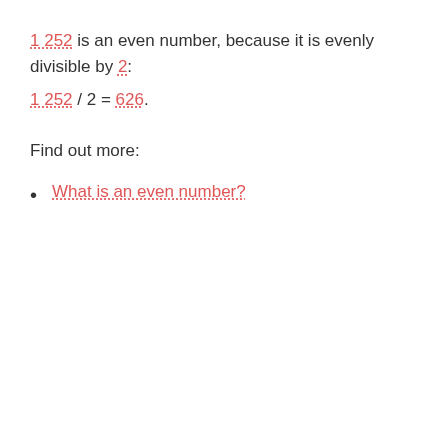1 252 is an even number, because it is evenly divisible by 2: 1 252 / 2 = 626.
Find out more:
What is an even number?